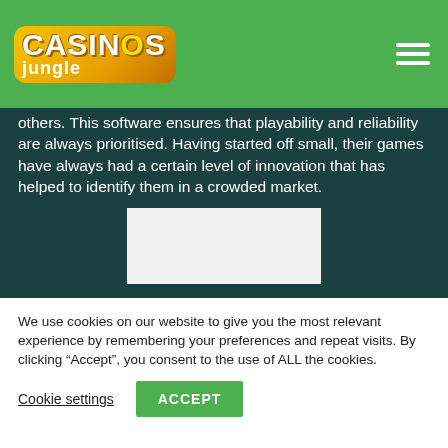Casinos Jungle
others. This software ensures that playability and reliability are always prioritised. Having started off small, their games have always had a certain level of innovation that has helped to identify them in a crowded market.
[Figure (other): White card/placeholder image area on dark green background]
We use cookies on our website to give you the most relevant experience by remembering your preferences and repeat visits. By clicking “Accept”, you consent to the use of ALL the cookies.
Cookie settings   ACCEPT